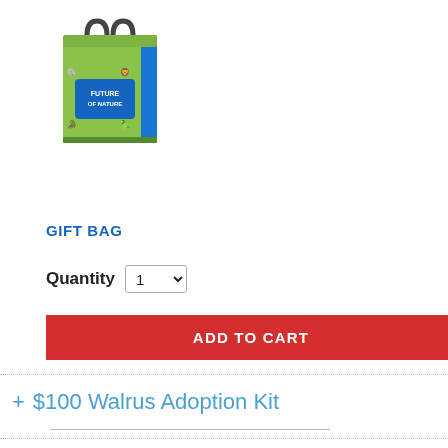[Figure (photo): A colorful tote/gift bag with a green and blue design showing animals and text reading 'Future of Nature', with black handles]
GIFT BAG
Quantity 1
ADD TO CART
+ $100 Walrus Adoption Kit
+ $25 Walrus Adoption Kit